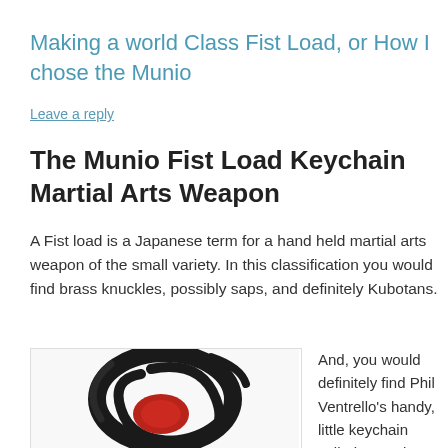Making a world Class Fist Load, or How I chose the Munio
Leave a reply
The Munio Fist Load Keychain Martial Arts Weapon
A Fist load is a Japanese term for a hand held martial arts weapon of the small variety. In this classification you would find brass knuckles, possibly saps, and definitely Kubotans.
[Figure (photo): Photo of the Munio Fist Load Keychain martial arts weapon, a dark circular object with red detail, shown on white background]
And, you would definitely find Phil Ventrello's handy, little keychain called a Munio. You can read about the Munio,